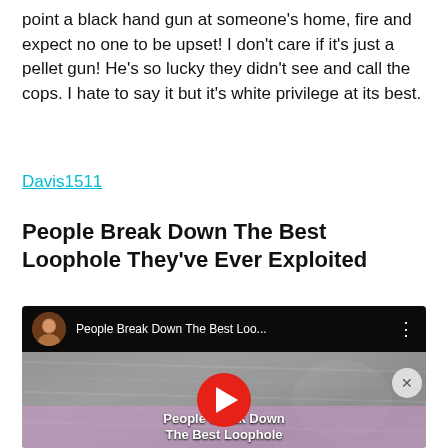point a black hand gun at someone's home, fire and expect no one to be upset! I don't care if it's just a pellet gun! He's so lucky they didn't see and call the cops. I hate to say it but it's white privilege at its best.
Davis1511
People Break Down The Best Loophole They've Ever Exploited
[Figure (screenshot): YouTube video embed showing 'People Break Down The Best Loo...' with a circular avatar of a person on the left, video menu dots on the right, a red YouTube play button in the center over a grey textured background, and a bottom overlay caption reading 'People Break Down The Best Loophole']